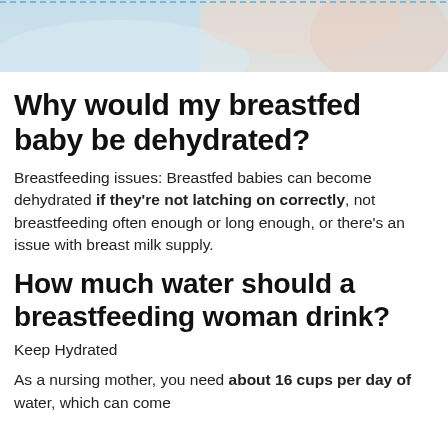[Figure (photo): Photo of a mother breastfeeding a baby, light blue tones, cropped at top]
Why would my breastfed baby be dehydrated?
Breastfeeding issues: Breastfed babies can become dehydrated if they're not latching on correctly, not breastfeeding often enough or long enough, or there's an issue with breast milk supply.
How much water should a breastfeeding woman drink?
Keep Hydrated
As a nursing mother, you need about 16 cups per day of water, which can come